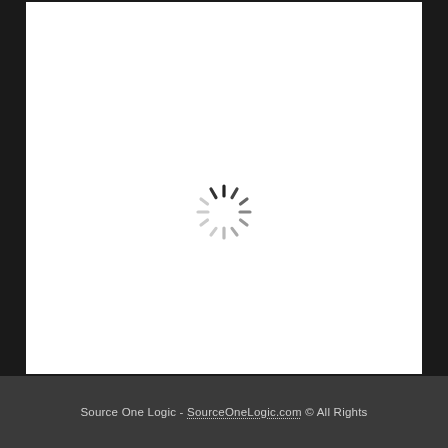[Figure (other): A loading spinner (circular dashed/spoked spinner icon) centered in a white content area, indicating a page or document is loading.]
Source One Logic - SourceOneLogic.com © All Rights